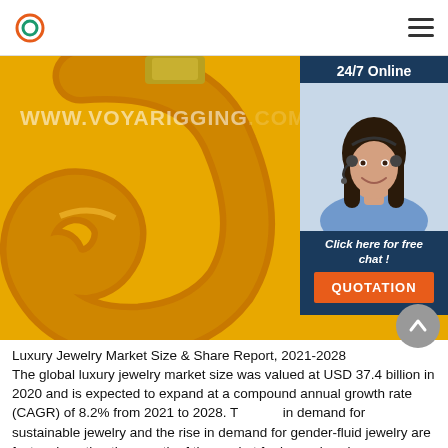www.voyarigging.com
[Figure (photo): Yellow painted crane hook close-up, with a customer service chat widget overlay on the right showing a female customer support agent with headset, '24/7 Online' header, 'Click here for free chat!' text, and an orange QUOTATION button]
Luxury Jewelry Market Size & Share Report, 2021-2028
The global luxury jewelry market size was valued at USD 37.4 billion in 2020 and is expected to expand at a compound annual growth rate (CAGR) of 8.2% from 2021 to 2028. The rise in demand for sustainable jewelry and the rise in demand for gender-fluid jewelry are factors boosting the growth of the market for luxury jewelry.